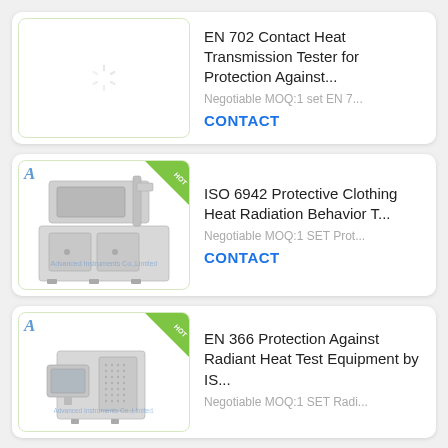[Figure (screenshot): Product listing card 1: Loading spinner placeholder image for EN 702 Contact Heat Transmission Tester]
EN 702 Contact Heat Transmission Tester for Protection Against...
Negotiable MOQ:1 set EN 7...
CONTACT
[Figure (photo): Product listing card 2: Photo of ISO 6942 Protective Clothing Heat Radiation Behavior Tester machine with HOT badge]
ISO 6942 Protective Clothing Heat Radiation Behavior T...
Negotiable MOQ:1 SET Prot...
CONTACT
[Figure (photo): Product listing card 3: Photo of EN 366 Protection Against Radiant Heat Test Equipment with HOT badge]
EN 366 Protection Against Radiant Heat Test Equipment by IS...
Negotiable MOQ:1 SET Radi...